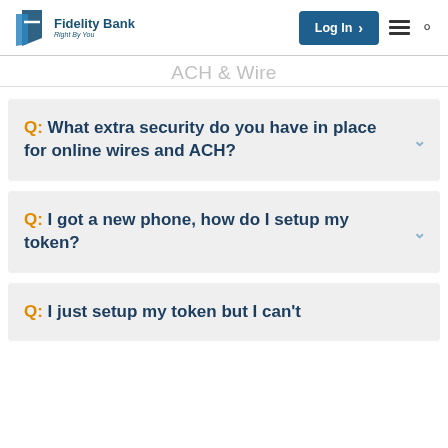Fidelity Bank Right By You — Log In — Navigation — Search
ACH & Wire
Q: What extra security do you have in place for online wires and ACH?
Q: I got a new phone, how do I setup my token?
Q: I just setup my token but I can't